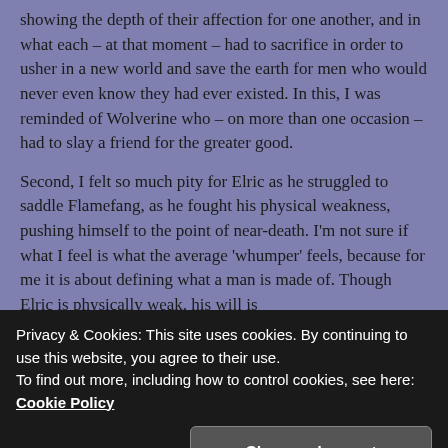showing the depth of their affection for one another, and in what each – at that moment – had to sacrifice in order to usher in a new world and save the earth for men who would never even know they had ever existed. In this, I was reminded of Wolverine who – on more than one occasion – had to slay a friend for the greater good.

Second, I felt so much pity for Elric as he struggled to saddle Flamefang, as he fought his physical weakness, pushing himself to the point of near-death. I'm not sure if what I feel is what the average 'whumper' feels, because for me it is about defining what a man is made of. Though Elric is physically weak, his will is
Privacy & Cookies: This site uses cookies. By continuing to use this website, you agree to their use.
To find out more, including how to control cookies, see here: Cookie Policy
Close and accept
in his physical body. I was particularly touched at the way